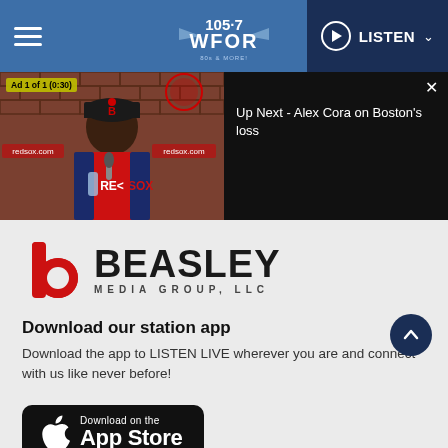105.7 WFOR | LISTEN
[Figure (screenshot): Video player showing a Boston Red Sox press conference with Alex Cora. Ad 1 of 1 (0:30) label visible. 'Up Next - Alex Cora on Boston's loss' shown in the next panel. redsox.com watermarks visible.]
[Figure (logo): Beasley Media Group, LLC logo with red stylized 'b' icon and bold black BEASLEY text with MEDIA GROUP, LLC subtitle]
Download our station app
Download the app to LISTEN LIVE wherever you are and connect with us like never before!
[Figure (logo): Download on the App Store button (Apple App Store badge, black background, white Apple logo and text)]